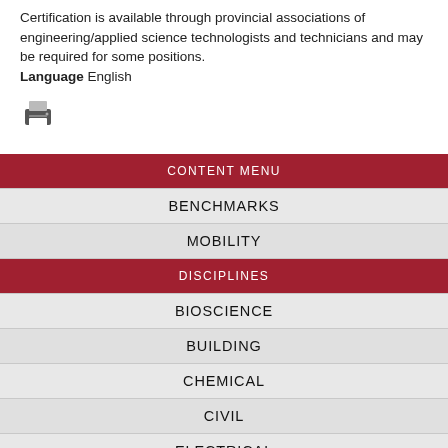Certification is available through provincial associations of engineering/applied science technologists and technicians and may be required for some positions. Language English
[Figure (other): Printer icon]
CONTENT MENU
BENCHMARKS
MOBILITY
DISCIPLINES
BIOSCIENCE
BUILDING
CHEMICAL
CIVIL
ELECTRICAL
ELECTRONICS